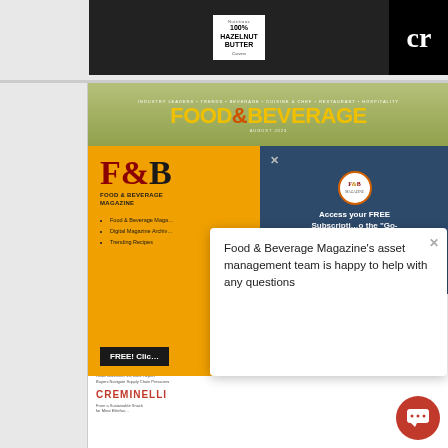[Figure (photo): Top strip showing hands holding a jar of Cravers Nutritious 100% Hazelnut Butter against a dark background, with a partial black logo/letter visible on the right]
[Figure (screenshot): Food & Beverage Magazine website screenshot showing the magazine cover (August 2023), an orange subscription panel with F&B logo and bullet list, a dark blue popup with 'Access your FREE Subscription to the Go-' text, a white popup reading 'Food & Beverage Magazine's asset management team is happy to help with any questions', and a bottom section showing RangeMe and Creminelli content. A red circular chat bubble button appears in the bottom right.]
Food & Beverage Magazine's asset management team is happy to help with any questions